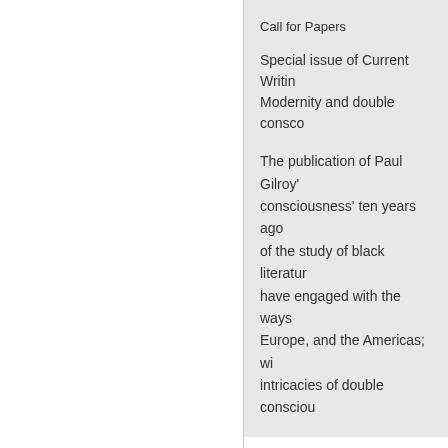Call for Papers
Special issue of Current Writing: Modernity and double consco...
The publication of Paul Gilroy's consciousness' ten years ago of the study of black literature have engaged with the ways Europe, and the Americas; wi intricacies of double consciou...
CFP: &quot;The Blac...
updated: Friday, July 25, 200...
Stephan.Meyer_at_unibas.ch
Call for Papers